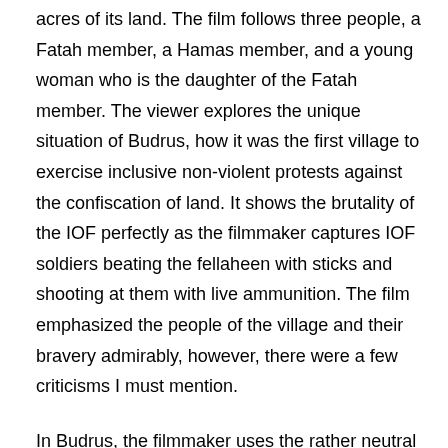acres of its land. The film follows three people, a Fatah member, a Hamas member, and a young woman who is the daughter of the Fatah member. The viewer explores the unique situation of Budrus, how it was the first village to exercise inclusive non-violent protests against the confiscation of land. It shows the brutality of the IOF perfectly as the filmmaker captures IOF soldiers beating the fellaheen with sticks and shooting at them with live ammunition. The film emphasized the people of the village and their bravery admirably, however, there were a few criticisms I must mention.
In Budrus, the filmmaker uses the rather neutral term “barrier” when referring to the wall. In addition, by the end of the film one is unclear if the filmmaker is for or against the wall, as it seems by the end that the villagers have earned a victory by forcing the Israelis to build closer to the green line